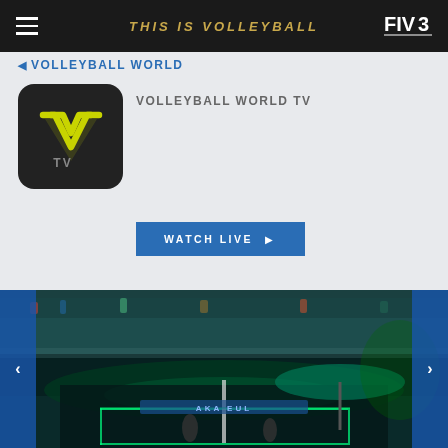THIS IS VOLLEYBALL | FIVB
VOLLEYBALL WORLD
VOLLEYBALL WORLD TV
[Figure (logo): Volleyball World TV logo: dark rounded square with yellow W-shaped chevron and 'TV' text below]
WATCH LIVE
[Figure (photo): Night sports event photo showing a volleyball match on a glowing green illuminated court over water, with a large crowd on a bridge/walkway above, teal and green lighting]